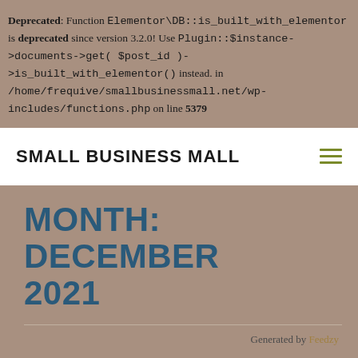Deprecated: Function Elementor\DB::is_built_with_elementor is deprecated since version 3.2.0! Use Plugin::$instance->documents->get( $post_id )->is_built_with_elementor() instead. in /home/frequive/smallbusinessmall.net/wp-includes/functions.php on line 5379
SMALL BUSINESS MALL
MONTH: DECEMBER 2021
Generated by Feedzy
PAID TO HATE PUTIN